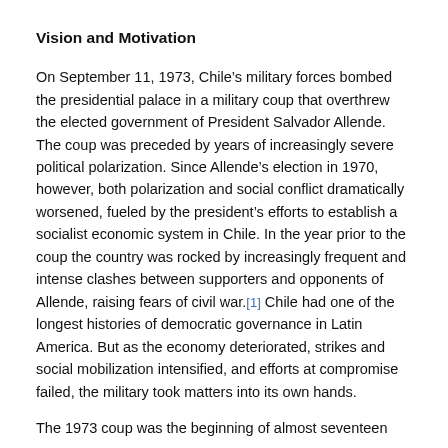Vision and Motivation
On September 11, 1973, Chile’s military forces bombed the presidential palace in a military coup that overthrew the elected government of President Salvador Allende. The coup was preceded by years of increasingly severe political polarization. Since Allende’s election in 1970, however, both polarization and social conflict dramatically worsened, fueled by the president’s efforts to establish a socialist economic system in Chile. In the year prior to the coup the country was rocked by increasingly frequent and intense clashes between supporters and opponents of Allende, raising fears of civil war.[1] Chile had one of the longest histories of democratic governance in Latin America. But as the economy deteriorated, strikes and social mobilization intensified, and efforts at compromise failed, the military took matters into its own hands.
The 1973 coup was the beginning of almost seventeen